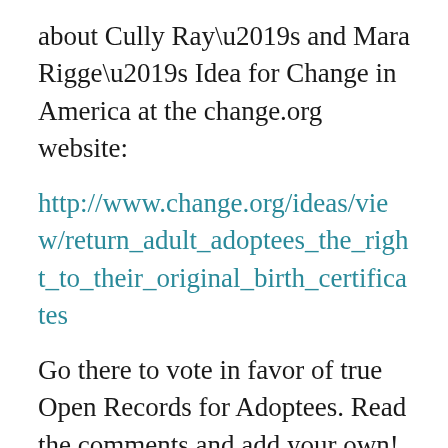about Cully Ray’s and Mara Rigge’s Idea for Change in America at the change.org website:
http://www.change.org/ideas/view/return_adult_adoptees_the_right_to_their_original_birth_certificates
Go there to vote in favor of true Open Records for Adoptees. Read the comments and add your own!